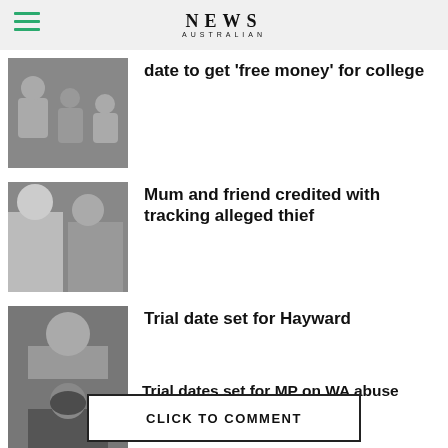NEWS AUSTRALIAN
date to get 'free money' for college
Mum and friend credited with tracking alleged thief
Trial date set for Hayward
Trial dates set for MP on WA abuse charges
CLICK TO COMMENT